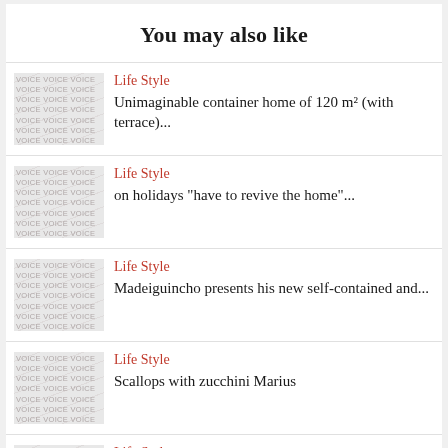You may also like
Life Style — Unimaginable container home of 120 m² (with terrace)...
Life Style — on holidays "have to revive the home"...
Life Style — Madeiguincho presents his new self-contained and...
Life Style — Scallops with zucchini Marius
Life Style